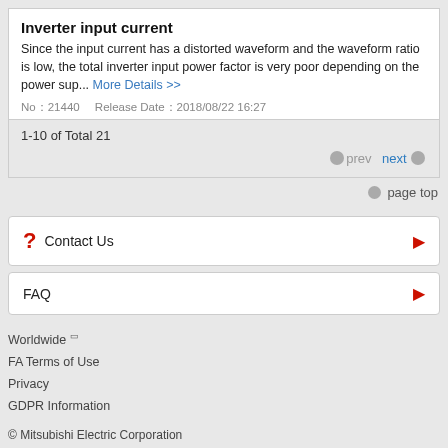Inverter input current
Since the input current has a distorted waveform and the waveform ratio is low, the total inverter input power factor is very poor depending on the power sup... More Details >>
No：21440   Release Date：2018/08/22 16:27
1-10 of Total 21
prev   next
page top
Contact Us
FAQ
Worldwide
FA Terms of Use
Privacy
GDPR Information
© Mitsubishi Electric Corporation